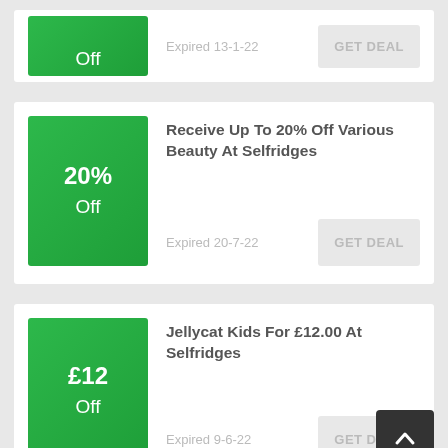[Figure (other): Partial green badge showing 'Off' text, top of first deal card]
Expired 13-1-22
GET DEAL
20% Off
Receive Up To 20% Off Various Beauty At Selfridges
Expired 20-7-22
GET DEAL
£12 Off
Jellycat Kids For £12.00 At Selfridges
Expired 9-6-22
GET DEAL